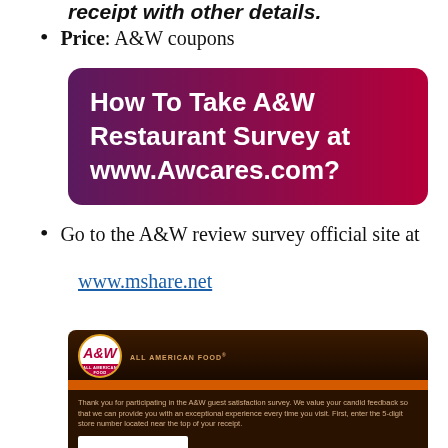Price: A&W coupons
How To Take A&W Restaurant Survey at www.Awcares.com?
Go to the A&W review survey official site at www.mshare.net
[Figure (screenshot): A&W Restaurant survey website screenshot showing the A&W logo, orange stripe header, and a text input field for store number entry with thank-you message.]